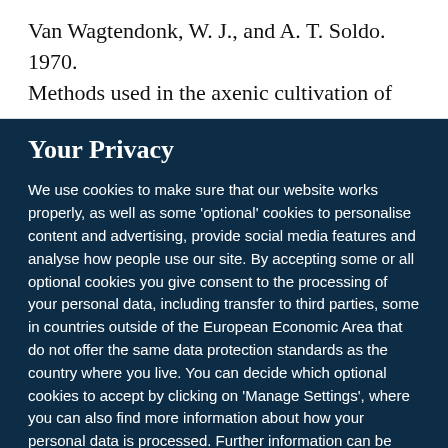Van Wagtendonk, W. J., and A. T. Soldo. 1970. Methods used in the axenic cultivation of
Your Privacy
We use cookies to make sure that our website works properly, as well as some 'optional' cookies to personalise content and advertising, provide social media features and analyse how people use our site. By accepting some or all optional cookies you give consent to the processing of your personal data, including transfer to third parties, some in countries outside of the European Economic Area that do not offer the same data protection standards as the country where you live. You can decide which optional cookies to accept by clicking on 'Manage Settings', where you can also find more information about how your personal data is processed. Further information can be found in our privacy policy.
Accept all cookies
Manage preferences